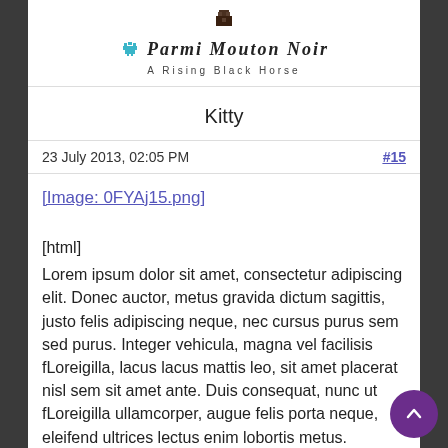[Figure (logo): Parmi Mouton Noir logo with pixel paw icon, site name and tagline 'A Rising Black Horse']
Kitty
23 July 2013, 02:05 PM   #15
[Image: 0FYAj15.png]
[html]
Lorem ipsum dolor sit amet, consectetur adipiscing elit. Donec auctor, metus gravida dictum sagittis, justo felis adipiscing neque, nec cursus purus sem sed purus. Integer vehicula, magna vel facilisis fLoreigilla, lacus lacus mattis leo, sit amet placerat nisl sem sit amet ante. Duis consequat, nunc ut fLoreigilla ullamcorper, augue felis porta neque, eleifend ultrices lectus enim lobortis metus.
Curabitur mattis orci eu ligula LoreiKitN2por vulputate. Mauris a lectus purus. "Cum sociis natoque penatibus et magnis dis parturient montes, nascetur ridiculus